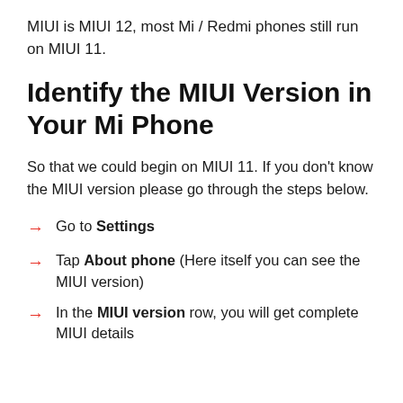MIUI is MIUI 12, most Mi / Redmi phones still run on MIUI 11.
Identify the MIUI Version in Your Mi Phone
So that we could begin on MIUI 11. If you don't know the MIUI version please go through the steps below.
Go to Settings
Tap About phone (Here itself you can see the MIUI version)
In the MIUI version row, you will get complete MIUI details